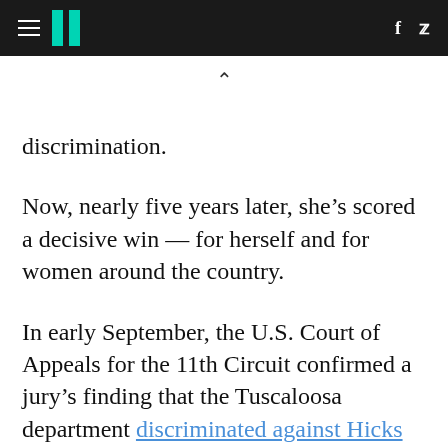HuffPost navigation with hamburger menu, logo, Facebook and Twitter icons
discrimination.
Now, nearly five years later, she’s scored a decisive win — for herself and for women around the country.
In early September, the U.S. Court of Appeals for the 11th Circuit confirmed a jury’s finding that the Tuscaloosa department discriminated against Hicks in violation of the federal Pregnancy Discrimination Act. The decision in Hicks v. City of Tuscaloosa appears to be the first time that a federal appellate court has recognized that